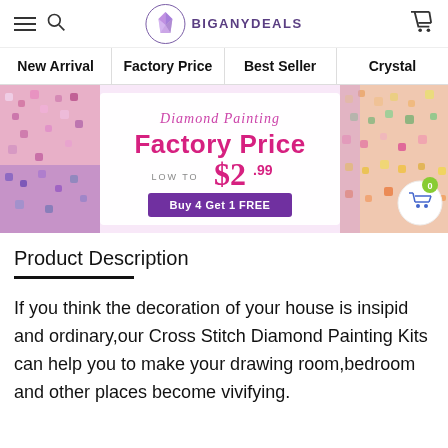BIGANYDEALS — navigation header with hamburger, search, logo, cart
New Arrival | Factory Price | Best Seller | Crystal
[Figure (infographic): Promotional banner for Diamond Painting Factory Price, low to $2.99, Buy 4 Get 1 FREE, with colorful diamond painting background images on left and right]
Product Description
If you think the decoration of your house is insipid and ordinary,our Cross Stitch Diamond Painting Kits can help you to make your drawing room,bedroom and other places become vivifying.